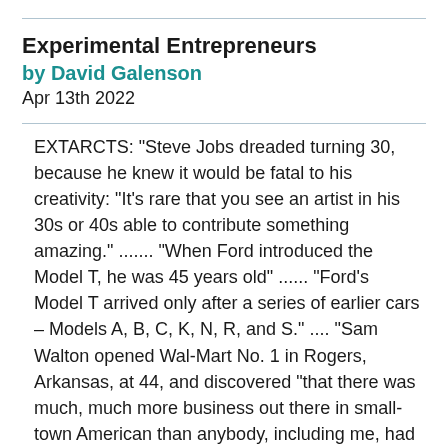Experimental Entrepreneurs
by David Galenson
Apr 13th 2022
EXTARCTS: "Steve Jobs dreaded turning 30, because he knew it would be fatal to his creativity: "It's rare that you see an artist in his 30s or 40s able to contribute something amazing." ....... "When Ford introduced the Model T, he was 45 years old" ...... "Ford's Model T arrived only after a series of earlier cars – Models A, B, C, K, N, R, and S." .... "Sam Walton opened Wal-Mart No. 1 in Rogers, Arkansas, at 44, and discovered “that there was much, much more business out there in small-town American than anybody, including me, had ever dreamed of.” At 53, Warren Buffett wrote in his annual letter to Berkshire Hathaway shareholders that “your chairman, always a quick study, required only 20 years to recognize how important it was to buy good businesses."”